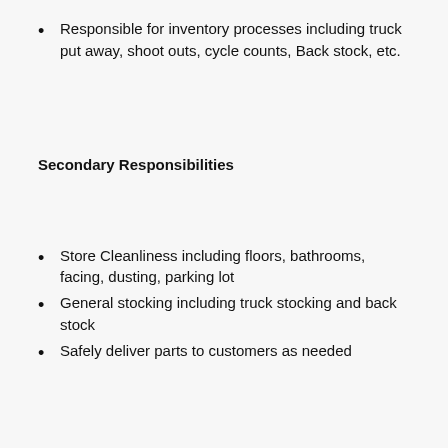Responsible for inventory processes including truck put away, shoot outs, cycle counts, Back stock, etc.
Secondary Responsibilities
Store Cleanliness including floors, bathrooms, facing, dusting, parking lot
General stocking including truck stocking and back stock
Safely deliver parts to customers as needed
Success Factors